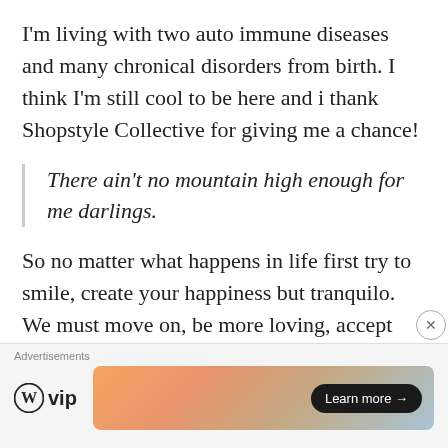I'm living with two auto immune diseases and many chronical disorders from birth. I think I'm still cool to be here and i thank Shopstyle Collective for giving me a chance!
There ain't no mountain high enough for me darlings.
So no matter what happens in life first try to smile, create your happiness but tranquilo. We must move on, be more loving, accept others and
Advertisements
[Figure (logo): WordPress VIP logo with circle W icon and 'vip' text]
[Figure (infographic): Advertisement banner with gradient peach/orange background and 'Learn more →' button]